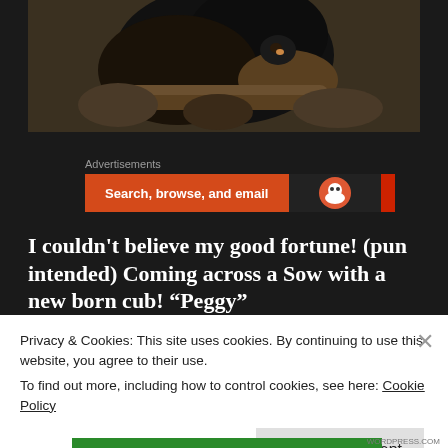[Figure (photo): A black bear sow with a newborn cub resting among rocks and logs]
Advertisements
[Figure (screenshot): Advertisement banner: 'Search, browse, and email' with DuckDuckGo logo on dark background with orange stripe]
I couldn't believe my good fortune! (pun intended) Coming across a Sow with a new born cub! “Peggy”
Privacy & Cookies: This site uses cookies. By continuing to use this website, you agree to their use.
To find out more, including how to control cookies, see here: Cookie Policy
Close and accept